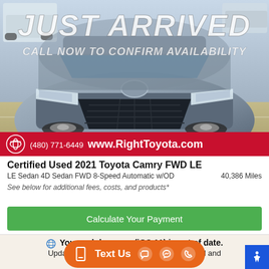[Figure (photo): Silver 2021 Toyota Camry sedan photographed in a parking lot, front three-quarter view. White watermark text overlaid reading 'JUST ARRIVED' and 'CALL NOW TO CONFIRM AVAILABILITY']
(480) 771-6449  www.RightToyota.com
Certified Used 2021 Toyota Camry FWD LE
LE Sedan 4D Sedan FWD 8-Speed Automatic w/OD    40,386 Miles
See below for additional fees, costs, and products*
Calculate Your Payment
Your web browser (iOS 11) is out of date. Update your browser for more security, speed and the best experience on this site.
Text Us